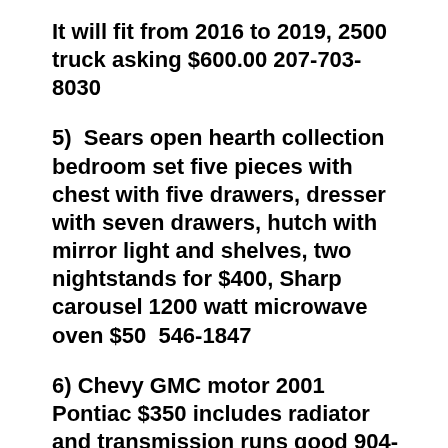It will fit from 2016 to 2019, 2500 truck asking $600.00 207-703-8030
5)  Sears open hearth collection bedroom set five pieces with chest with five drawers, dresser with seven drawers, hutch with mirror light and shelves, two nightstands for $400, Sharp carousel 1200 watt microwave oven $50  546-1847
6) Chevy GMC motor 2001 Pontiac $350 includes radiator and transmission runs good 904- 546-1116
7) 2000 Chevy S10 bucket seats $50 for